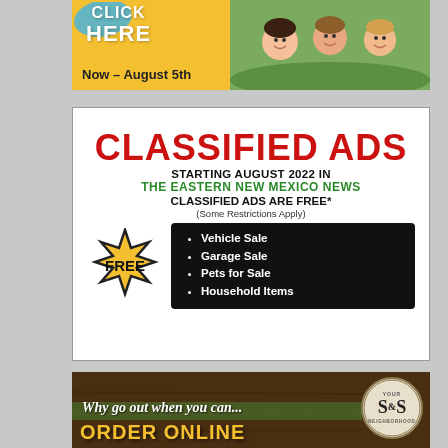[Figure (illustration): Top banner advertisement with yellow/gold background, 'CLICK HERE' text in white, 'Now – August 5th' subtext, and children photo on the right side]
[Figure (infographic): Classified Ads promotion box. Title 'CLASSIFIED ADS' in red. Text: 'STARTING AUGUST 2022 IN THE EASTERN NEW MEXICO NEWS CLASSIFIED ADS ARE FREE* (Some Restrictions Apply)'. Yellow star badge with 'FREE'. Black box listing: Vehicle Sale, Garage Sale, Pets for Sale, Household Items.]
[Figure (illustration): Bottom banner with dark wood background, italic text 'Why go out when you can...' and 'ORDER ONLINE' in yellow/gold, with S&S Your Neighborhood logo circle on the right]